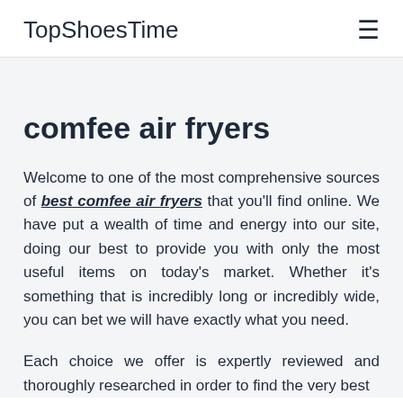TopShoesTime
comfee air fryers
Welcome to one of the most comprehensive sources of best comfee air fryers that you'll find online. We have put a wealth of time and energy into our site, doing our best to provide you with only the most useful items on today's market. Whether it's something that is incredibly long or incredibly wide, you can bet we will have exactly what you need.
Each choice we offer is expertly reviewed and thoroughly researched in order to find the very best